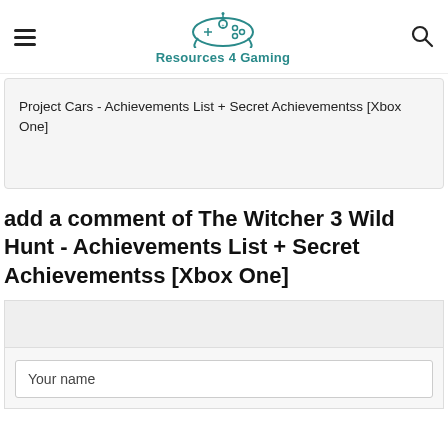Resources 4 Gaming
Project Cars - Achievements List + Secret Achievementss [Xbox One]
add a comment of The Witcher 3 Wild Hunt - Achievements List + Secret Achievementss [Xbox One]
Your name